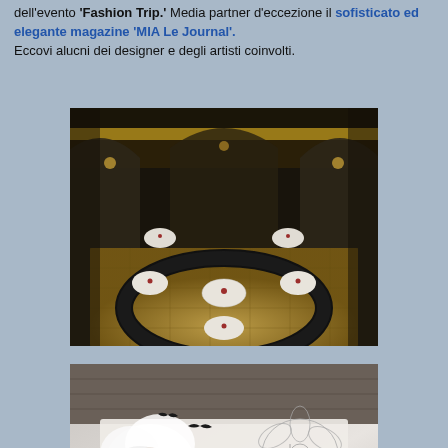dell'evento 'Fashion Trip.' Media partner d'eccezione il sofisticato ed elegante magazine 'MIA Le Journal'. Eccovi alucni dei designer e degli artisti coinvolti.
[Figure (photo): Overhead view of an elegant restaurant interior with circular seating arrangement, arched architecture, white-clothed tables, and ornate mosaic floor.]
[Figure (photo): Black and white image showing a magazine cover 'Le Journal' surrounded by white floral paper decorations and delicate line drawings of flowers.]